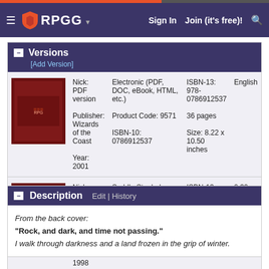RPGG | Sign In | Join (it's free)!
Versions [Add Version]
| Image | Nick / Publisher / Year | Format / Product Code / ISBN-10 | ISBN-13 / Pages / Size | Language / Weight |
| --- | --- | --- | --- | --- |
| [book image] | Nick: PDF version
Publisher: Wizards of the Coast
Year: 2001 | Electronic (PDF, DOC, eBook, HTML, etc.)
Product Code: 9571
ISBN-10: 0786912537 | ISBN-13: 978-0786912537
36 pages
Size: 8.22 x 10.50 inches | English |
| [book image] | Nick: Saddle-stapled version
Publisher: TSR
Year: 1998 | Saddle Stapled (modules/pamphlets)
Product Code: 9571
ISBN-10: 0786912537 | ISBN-13: 978-0786912537
32 pages
Size: Letter | 0.30 pounds
English |
Description | Edit | History
From the back cover:
"Rock, and dark, and time not passing."
I walk through darkness and a land frozen in the grip of winter.